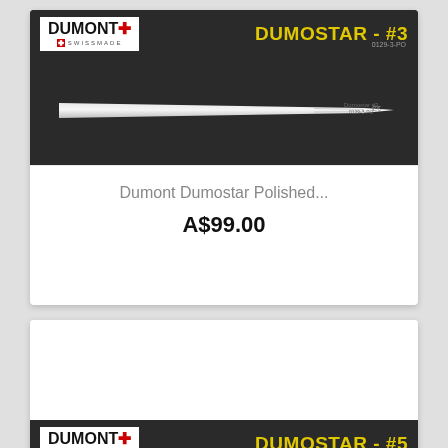[Figure (photo): Dumont Dumostar #3 polished tweezers product card with dark header showing logo and model name, silver tweezers on dark background]
Dumont Dumostar Polished...
A$99.00
[Figure (photo): Dumont Dumostar #5 polished tweezers product card with dark header showing logo and model name, tweezers on dark background]